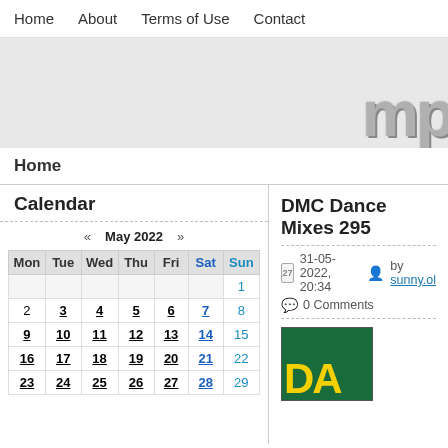Home  About  Terms of Use  Contact
[Figure (logo): Website banner with grey background and partial logo text 'mp' in grey metallic style on the right]
Home
Calendar
| Mon | Tue | Wed | Thu | Fri | Sat | Sun |
| --- | --- | --- | --- | --- | --- | --- |
|  |  |  |  |  |  | 1 |
| 2 | 3 | 4 | 5 | 6 | 7 | 8 |
| 9 | 10 | 11 | 12 | 13 | 14 | 15 |
| 16 | 17 | 18 | 19 | 20 | 21 | 22 |
| 23 | 24 | 25 | 26 | 27 | 28 | 29 |
DMC Dance Mixes 295
31-05-2022, 20:34   by sunny.ol   0 Comments
[Figure (photo): Album cover image with green background and yellow bold text 'DA' visible (partial)]